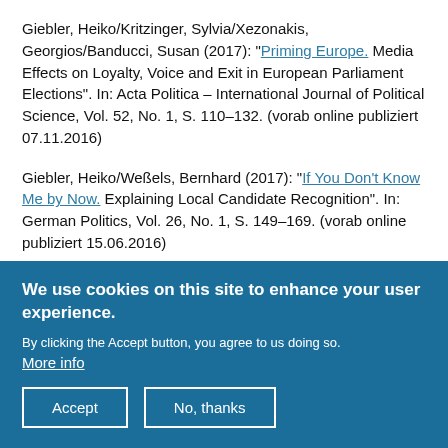Giebler, Heiko/Kritzinger, Sylvia/Xezonakis, Georgios/Banducci, Susan (2017): "Priming Europe. Media Effects on Loyalty, Voice and Exit in European Parliament Elections". In: Acta Politica – International Journal of Political Science, Vol. 52, No. 1, S. 110–132. (vorab online publiziert 07.11.2016)
Giebler, Heiko/Weßels, Bernhard (2017): "If You Don't Know Me by Now. Explaining Local Candidate Recognition". In: German Politics, Vol. 26, No. 1, S. 149–169. (vorab online publiziert 15.06.2016)
2016
Giebler, Heiko/Merkel, Wolfgang (2016): "Freedom and Equality in Democracies. Is There a Trade-Off?". In:
We use cookies on this site to enhance your user experience.

By clicking the Accept button, you agree to us doing so.
More info